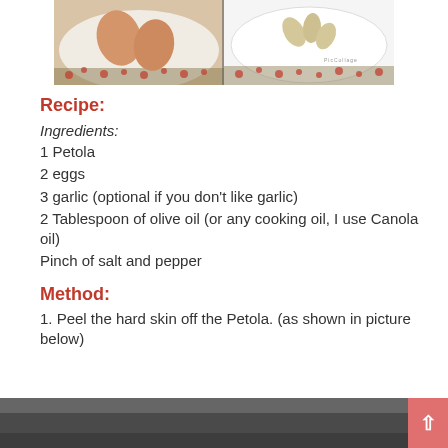[Figure (photo): Two-panel photo collage showing ingredients on floral-bordered plates: left panel has eggs on a plate, right panel has garlic cloves on a plate with a PicCollage watermark]
Recipe:
Ingredients:
1 Petola
2 eggs
3 garlic (optional if you don't like garlic)
2 Tablespoon of olive oil (or any cooking oil, I use Canola oil)
Pinch of salt and pepper
Method:
1. Peel the hard skin off the Petola. (as shown in picture below)
[Figure (photo): Bottom of page photo showing a grey/dark surface, partially visible, related to method step]